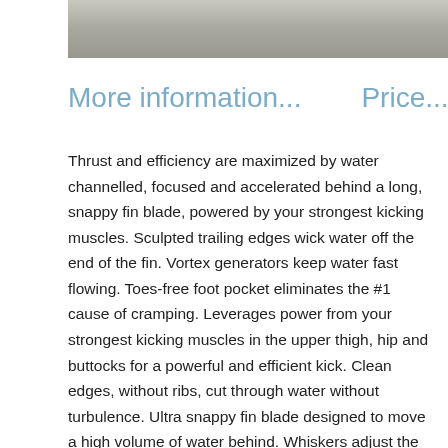[Figure (photo): Partial view of a swimming fin or underwater equipment, gray/stone texture background]
More information...     Price...
Thrust and efficiency are maximized by water channelled, focused and accelerated behind a long, snappy fin blade, powered by your strongest kicking muscles. Sculpted trailing edges wick water off the end of the fin. Vortex generators keep water fast flowing. Toes-free foot pocket eliminates the #1 cause of cramping. Leverages power from your strongest kicking muscles in the upper thigh, hip and buttocks for a powerful and efficient kick. Clean edges, without ribs, cut through water without turbulence. Ultra snappy fin blade designed to move a high volume of water behind. Whiskers adjust the power the fins. When more power is needed turn them inwards to create a more powerful thrust. 8 x Whiskers no longer available from Force Fin - 2 x Black Tan Delta, 2 x Blue Tan Delta, 4 x